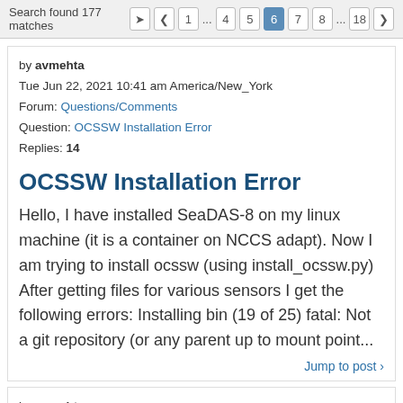Search found 177 matches  |  < 1 ... 4 5 6 7 8 ... 18 >
by avmehta
Tue Jun 22, 2021 10:41 am America/New_York
Forum: Questions/Comments
Question: OCSSW Installation Error
Replies: 14
OCSSW Installation Error
Hello, I have installed SeaDAS-8 on my linux machine (it is a container on NCCS adapt). Now I am trying to install ocssw (using install_ocssw.py) After getting files for various sensors I get the following errors: Installing bin (19 of 25) fatal: Not a git repository (or any parent up to mount point...
Jump to post ›
by avmehta
Wed Jun 16, 2021 11:40 pm America/New_York